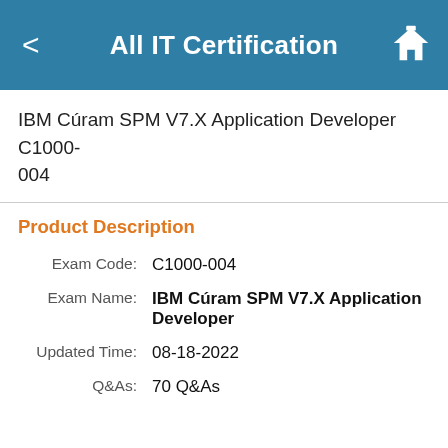All IT Certification
IBM Cúram SPM V7.X Application Developer  C1000-004
Product Description
Exam Code: C1000-004
Exam Name: IBM Cúram SPM V7.X Application Developer
Updated Time: 08-18-2022
Q&As: 70 Q&As